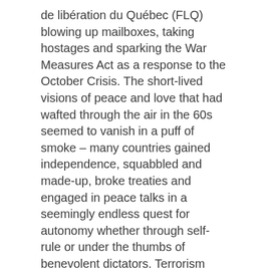de libération du Québec (FLQ) blowing up mailboxes, taking hostages and sparking the War Measures Act as a response to the October Crisis. The short-lived visions of peace and love that had wafted through the air in the 60s seemed to vanish in a puff of smoke – many countries gained independence, squabbled and made-up, broke treaties and engaged in peace talks in a seemingly endless quest for autonomy whether through self-rule or under the thumbs of benevolent dictators. Terrorism became daily news with the Dawson's Field airplane hijackings, RAF anarchists run amok in West Germany and the Arms Crisis where government officials colluded in furthering sectarian violence in Ireland.
Radical groups rose up everywhere but ordinary citizens were also tired of government rhetoric. When Nixon ordered U.S. forces into neutral Cambodia, the threat of the Vietnam War spreading into one vast South-east Asian theatre of the absurd sparked nationwide riots. In